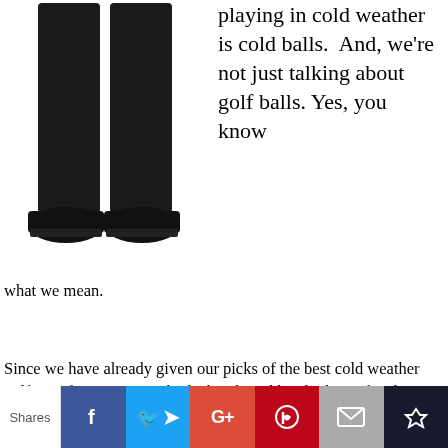[Figure (photo): Lower body of a person wearing black golf trousers and black golf shoes on a white background]
playing in cold weather is cold balls. And, we're not just talking about golf balls. Yes, you know what we mean.
Since we have already given our picks of the best cold weather golf gear for your upper body, hands and head....let us finish up with the best
Shares | Facebook | Twitter | Google+ | Pinterest | Email | Crown